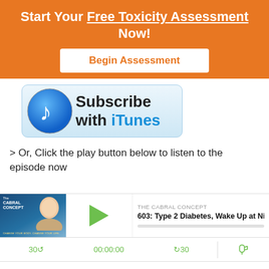Start Your Free Toxicity Assessment Now!
Begin Assessment
[Figure (screenshot): Subscribe with iTunes button banner with music note icon]
> Or, Click the play button below to listen to the episode now
[Figure (screenshot): Audio player widget for The Cabral Concept podcast, episode 603: Type 2 Diabetes, Wake Up at Night, showing play button, time 00:00:00, skip controls 30s back and forward, and RSS icon]